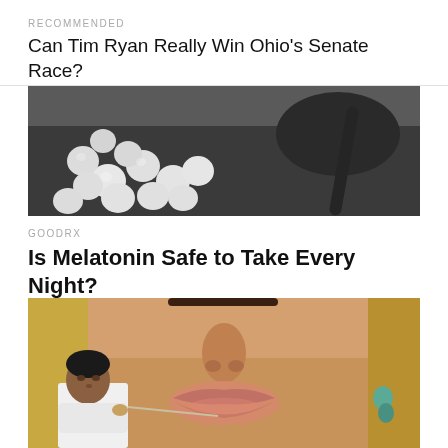RECOMMENDED
Can Tim Ryan Really Win Ohio’s Senate Race?
[Figure (photo): Black and white photo of white pills/tablets scattered on a dark surface with a spoon]
GOODRX
Is Melatonin Safe to Take Every Night?
[Figure (photo): Close-up photo of a woman's face with blonde hair, and a smaller inset image of a man in white coat appearing to inject or treat her lip area]